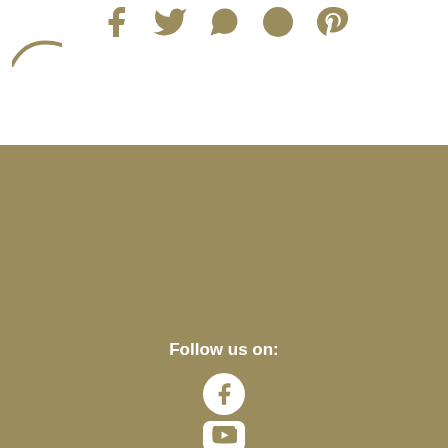[Figure (infographic): Social sharing icons (Facebook, Twitter, WhatsApp, Reddit, Pinterest) in gold/tan color at the top of the page]
[Figure (logo): Partial curved logo in bottom-left of top white section]
Follow us on:
[Figure (infographic): Facebook circle icon in white on gold background]
[Figure (infographic): YouTube rectangle icon in white on gold background]
ABOUT
AUTHORS
CONTACT